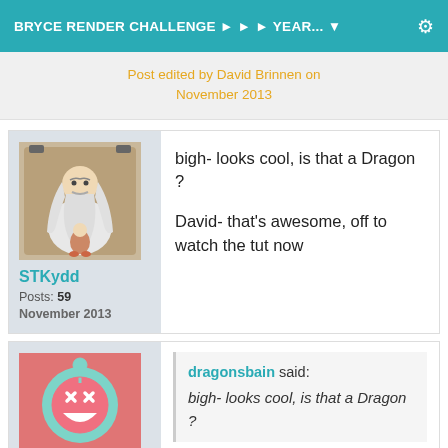BRYCE RENDER CHALLENGE ► ► ► YEAR... ▼
Post edited by David Brinnen on November 2013
STKydd
Posts: 59
November 2013
bigh- looks cool, is that a Dragon ?

David- that's awesome, off to watch the tut now
dragonsbain said:
bigh- looks cool, is that a Dragon ?